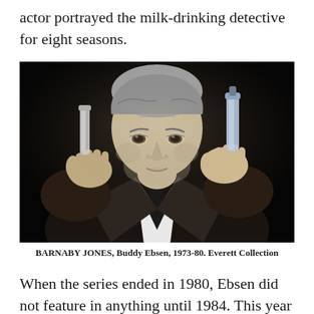actor portrayed the milk-drinking detective for eight seasons.
[Figure (photo): Black and white photo of Buddy Ebsen as Barnaby Jones, holding up two test tubes or vials, wearing a suit and tie, looking at the vials with a serious expression.]
BARNABY JONES, Buddy Ebsen, 1973-80. Everett Collection
When the series ended in 1980, Ebsen did not feature in anything until 1984. This year brought the